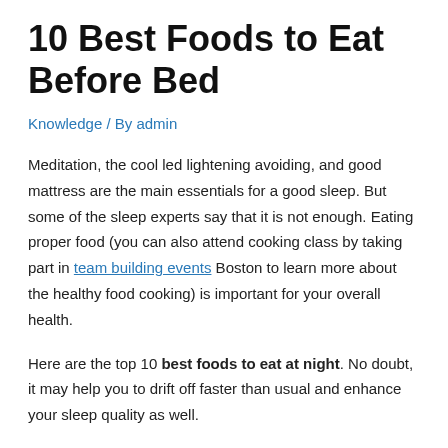10 Best Foods to Eat Before Bed
Knowledge / By admin
Meditation, the cool led lightening avoiding, and good mattress are the main essentials for a good sleep. But some of the sleep experts say that it is not enough. Eating proper food (you can also attend cooking class by taking part in team building events Boston to learn more about the healthy food cooking) is important for your overall health.
Here are the top 10 best foods to eat at night. No doubt, it may help you to drift off faster than usual and enhance your sleep quality as well.
1. Chamomile Tea
Chamomile tea is a natural herbal route that has a number of